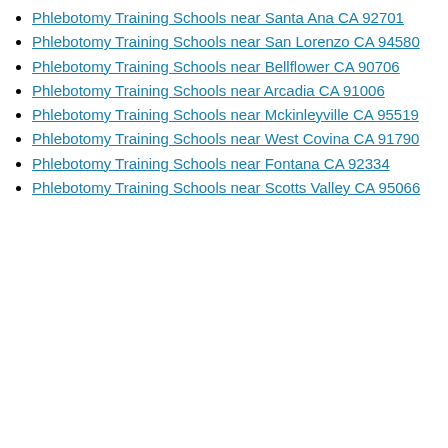Phlebotomy Training Schools near Santa Ana CA 92701
Phlebotomy Training Schools near San Lorenzo CA 94580
Phlebotomy Training Schools near Bellflower CA 90706
Phlebotomy Training Schools near Arcadia CA 91006
Phlebotomy Training Schools near Mckinleyville CA 95519
Phlebotomy Training Schools near West Covina CA 91790
Phlebotomy Training Schools near Fontana CA 92334
Phlebotomy Training Schools near Scotts Valley CA 95066